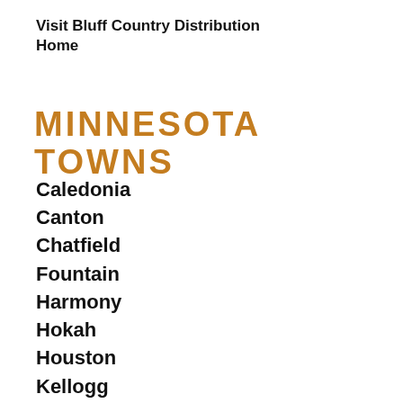Visit Bluff Country Distribution
Home
MINNESOTA TOWNS
Caledonia
Canton
Chatfield
Fountain
Harmony
Hokah
Houston
Kellogg
La Crescent
Lake City